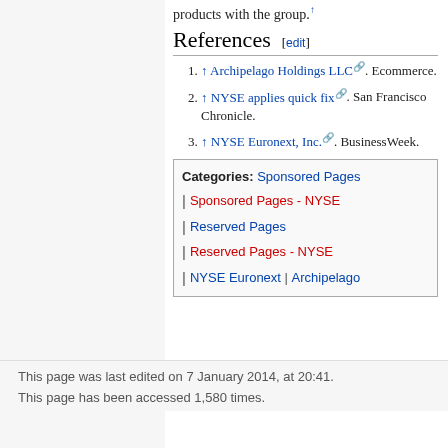products with the group.
References [edit]
↑ Archipelago Holdings LLC. Ecommerce.
↑ NYSE applies quick fix. San Francisco Chronicle.
↑ NYSE Euronext, Inc.. BusinessWeek.
Categories: Sponsored Pages | Sponsored Pages - NYSE | Reserved Pages | Reserved Pages - NYSE | NYSE Euronext | Archipelago
This page was last edited on 7 January 2014, at 20:41.

This page has been accessed 1,580 times.